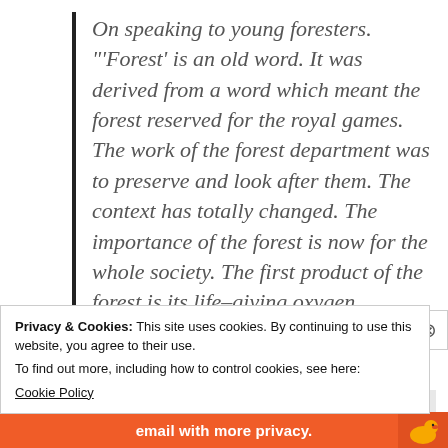On speaking to young foresters. "'Forest' is an old word. It was derived from a word which meant the forest reserved for the royal games. The work of the forest department was to preserve and look after them. The context has totally changed. The importance of the forest is now for the whole society. The first product of the forest is its life-giving oxygen, followed
Privacy & Cookies: This site uses cookies. By continuing to use this website, you agree to their use.
To find out more, including how to control cookies, see here:
Cookie Policy
Close and accept
email with more privacy.